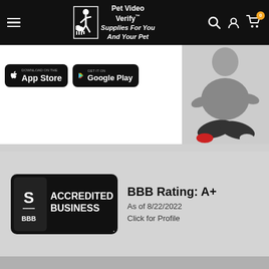Pet Video Verify™ Supplies For You And Your Pet
[Figure (screenshot): App Store and Google Play download buttons with person sitting cross-legged in background]
[Figure (logo): BBB Accredited Business badge with BBB Rating: A+, As of 8/22/2022, Click for Profile]